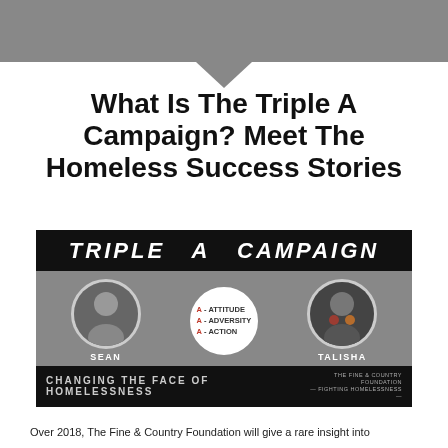[Figure (illustration): Gray banner at top of page with downward-pointing arrow/chevron below it]
What Is The Triple A Campaign? Meet The Homeless Success Stories
[Figure (infographic): Triple A Campaign banner graphic with black header reading 'TRIPLE A CAMPAIGN', gray middle section with two circular portrait photos (Sean and Talisha) and a white circle showing A=Attitude, A=Adversity, A=Action, and black bottom bar reading 'CHANGING THE FACE OF HOMELESSNESS' with Fine & Country Foundation logo]
Over 2018, The Fine & Country Foundation will give a rare insight into